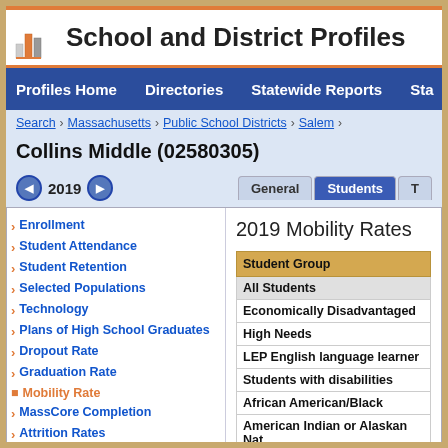School and District Profiles
Profiles Home   Directories   Statewide Reports   Sta
Search > Massachusetts > Public School Districts > Salem >
Collins Middle (02580305)
2019   General   Students   T
Enrollment
Student Attendance
Student Retention
Selected Populations
Technology
Plans of High School Graduates
Dropout Rate
Graduation Rate
Mobility Rate
MassCore Completion
Attrition Rates
Class Size by Gender and Selected Population
2019 Mobility Rates
| Student Group |
| --- |
| All Students |
| Economically Disadvantaged |
| High Needs |
| LEP English language learner |
| Students with disabilities |
| African American/Black |
| American Indian or Alaskan Nat |
| Asian |